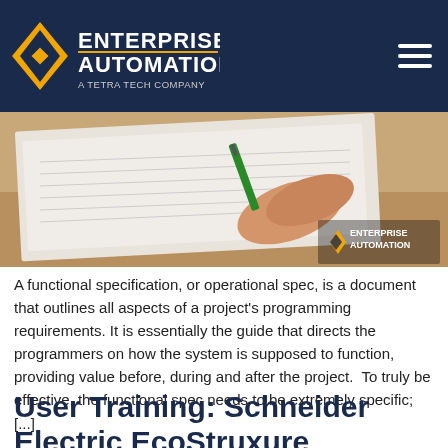Enterprise Automation — A Tetra Tech Company
[Figure (photo): A hand holding a green pen writing on a document/paper on a clipboard, with an Enterprise Automation watermark logo in the bottom-right corner of the photo.]
A functional specification, or operational spec, is a document that outlines all aspects of a project's programming requirements. It is essentially the guide that directs the programmers on how the system is supposed to function, providing value before, during and after the project.  To truly be effective, the functional spec needs to be extremely specific; [...]
User Training: Schneider Electric EcoStruxure